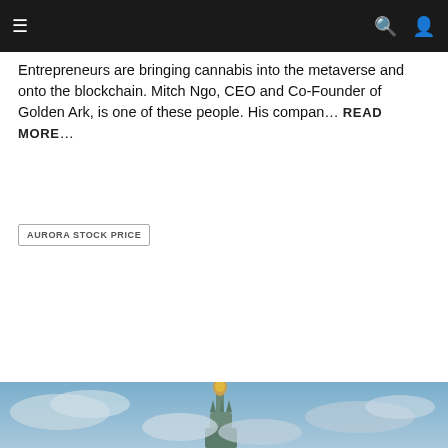Navigation bar with menu, search, and user icons
Entrepreneurs are bringing cannabis into the metaverse and onto the blockchain. Mitch Ngo, CEO and Co-Founder of Golden Ark, is one of these people. His compan… READ MORE…
AURORA STOCK PRICE
BUSINESS
CANNABIS 101
CANNABIS CANADA
CANNABIS NEWS
CANOPY GROWTH
CANOPY STOCK PRICE
CULTURE
FEATURED
INTERVIEW
MARIJUANA LEGALIZATION
MARIJUANA NEWS
PRODUCTS
SCIENCE
TECHNOLOGY
THC NEWS
0 COMMENTS
120 VIEWS
[Figure (photo): Photo of the Statue of Liberty torch area seen from below against a blue sky with clouds, teal/blue tones]